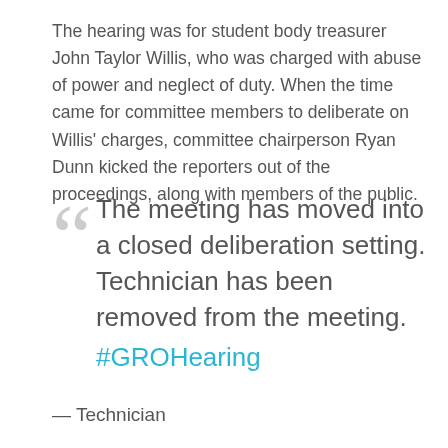The hearing was for student body treasurer John Taylor Willis, who was charged with abuse of power and neglect of duty. When the time came for committee members to deliberate on Willis' charges, committee chairperson Ryan Dunn kicked the reporters out of the proceedings, along with members of the public.
The meeting has moved into a closed deliberation setting. Technician has been removed from the meeting. #GROHearing
— Technician